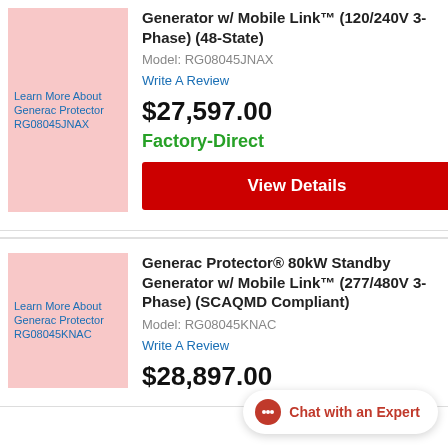[Figure (photo): Product image placeholder for Generac Protector RG08045JNAX with pink background]
Generator w/ Mobile Link™ (120/240V 3-Phase) (48-State)
Model: RG08045JNAX
Write A Review
$27,597.00
Factory-Direct
View Details
[Figure (photo): Product image placeholder for Generac Protector RG08045KNAC with pink background]
Generac Protector® 80kW Standby Generator w/ Mobile Link™ (277/480V 3-Phase) (SCAQMD Compliant)
Model: RG08045KNAC
Write A Review
$28,897.00
Chat with an Expert